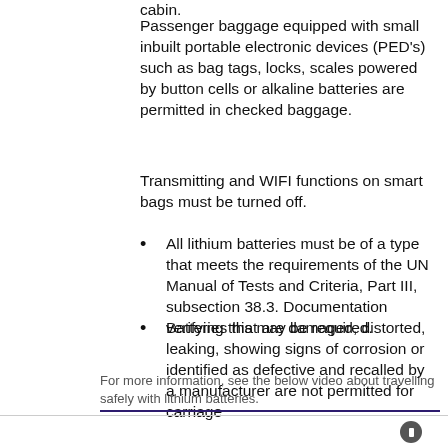cabin.
Passenger baggage equipped with small inbuilt portable electronic devices (PED's) such as bag tags, locks, scales powered by button cells or alkaline batteries are permitted in checked baggage.
Transmitting and WIFI functions on smart bags must be turned off.
All lithium batteries must be of a type that meets the requirements of the UN Manual of Tests and Criteria, Part III, subsection 38.3. Documentation verifying this may be required.
Batteries that are damaged, distorted, leaking, showing signs of corrosion or identified as defective and recalled by a manufacturer are not permitted for carriage
For more information, see the below video about travelling safely with lithium batteries.